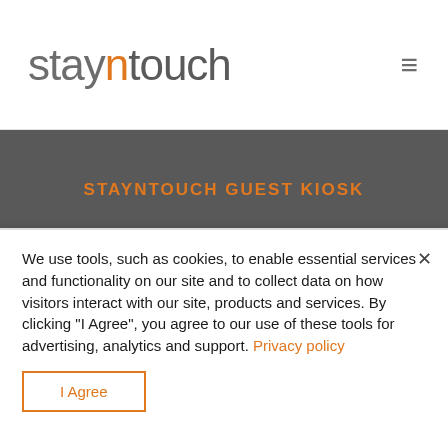[Figure (logo): Stayntouch logo with 'stay' in gray, 'n' in orange, 'touch' in gray]
STAYNTOUCH GUEST KIOSK
PRICING
ABOUT
WHO WE ARE
VISION
We use tools, such as cookies, to enable essential services and functionality on our site and to collect data on how visitors interact with our site, products and services. By clicking "I Agree", you agree to our use of these tools for advertising, analytics and support. Privacy policy
I Agree